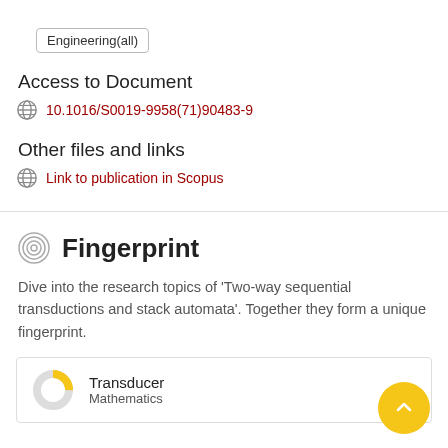Engineering(all)
Access to Document
10.1016/S0019-9958(71)90483-9
Other files and links
Link to publication in Scopus
Fingerprint
Dive into the research topics of 'Two-way sequential transductions and stack automata'. Together they form a unique fingerprint.
[Figure (donut-chart): Donut chart showing approximately 25% fill in yellow, 75% gray for Transducer / Mathematics]